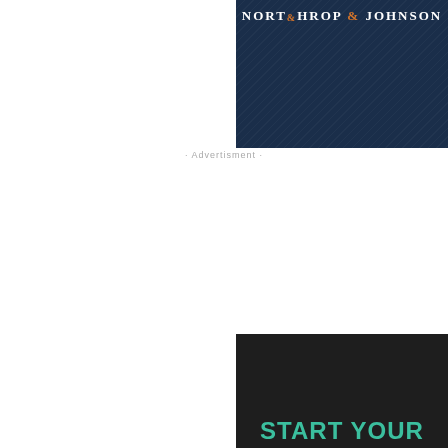[Figure (logo): Northrop & Johnson logo on dark navy textured background]
· Advertisment ·
[Figure (infographic): Dark background advertisement with text: START YOUR ODYSSEY OF OPULENCE AT]